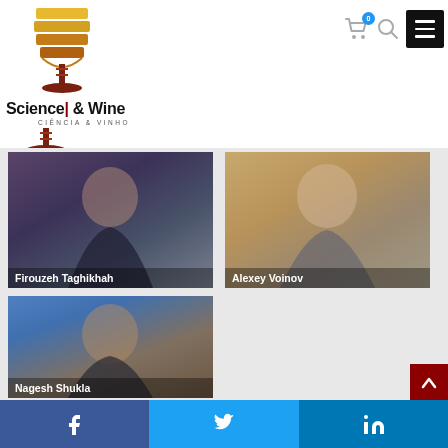[Figure (logo): Science & Wine logo with wine glass icon and text 'Science & Wine / CIÊNCIA & VINHO']
[Figure (screenshot): Navigation icons: shopping cart with badge '0', search icon, hamburger menu button]
[Figure (photo): Profile photo of Firouzeh Taghikhah, woman in dark jacket with curly hair]
[Figure (photo): Profile photo of Alexey Voinov, man smiling]
[Figure (photo): Profile photo of Nagesh Shukla, man in suit]
[Figure (screenshot): Social media bar with Facebook, Twitter, and LinkedIn icons]